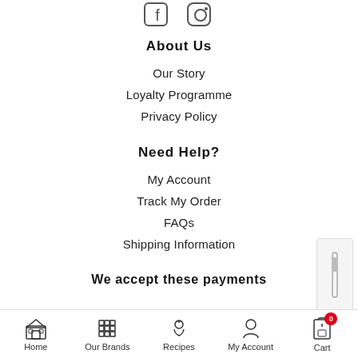[Figure (illustration): Social media icons (Facebook and Instagram) partially visible at top of page]
About Us
Our Story
Loyalty Programme
Privacy Policy
Need Help?
My Account
Track My Order
FAQs
Shipping Information
We accept these payments
Home  Our Brands  Recipes  My Account  Cart